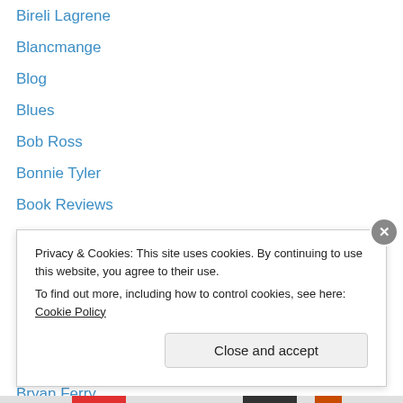Bireli Lagrene
Blancmange
Blog
Blues
Bob Ross
Bonnie Tyler
Book Reviews
Boon Gould
Bow Wow Wow
Breakdance
Brecker Brothers
Brian Eno
Bryan Ferry
Bucks Fizz
Privacy & Cookies: This site uses cookies. By continuing to use this website, you agree to their use. To find out more, including how to control cookies, see here: Cookie Policy